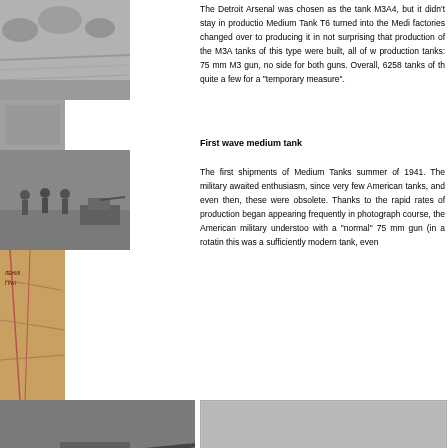[Figure (photo): Collage of black and white historical photographs showing tanks and military scenes, plus a map]
The Detroit Arsenal was chosen as the tank M3A4, but it didn't stay in production. Medium Tank T6 turned into the Medium factories changed over to producing it in not surprising that production of the M3A tanks of this type were built, all of w production tanks: 75 mm M3 gun, no side for both guns. Overall, 6258 tanks of th quite a few for a "temporary measure".
First wave medium tank
The first shipments of Medium Tanks summer of 1941. The military awaited enthusiasm, since very few American tanks, and even then, these were obsolete. Thanks to the rapid rates of production began appearing frequently in photograph course, the American military understood with a "normal" 75 mm gun (in a rotatin this was a sufficiently modern tank, even